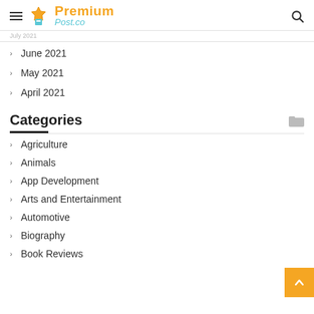PremiumPost.co
June 2021
May 2021
April 2021
Categories
Agriculture
Animals
App Development
Arts and Entertainment
Automotive
Biography
Book Reviews